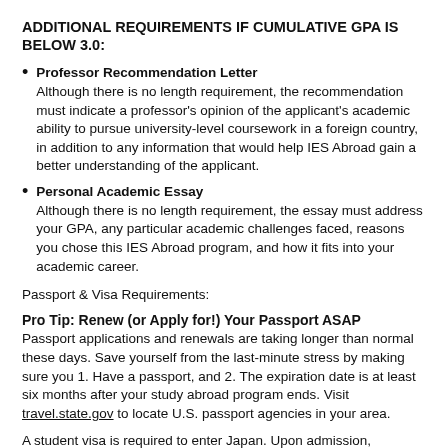ADDITIONAL REQUIREMENTS IF CUMULATIVE GPA IS BELOW 3.0:
Professor Recommendation Letter Although there is no length requirement, the recommendation must indicate a professor's opinion of the applicant's academic ability to pursue university-level coursework in a foreign country, in addition to any information that would help IES Abroad gain a better understanding of the applicant.
Personal Academic Essay Although there is no length requirement, the essay must address your GPA, any particular academic challenges faced, reasons you chose this IES Abroad program, and how it fits into your academic career.
Passport & Visa Requirements:
Pro Tip: Renew (or Apply for!) Your Passport ASAP Passport applications and renewals are taking longer than normal these days. Save yourself from the last-minute stress by making sure you 1. Have a passport, and 2. The expiration date is at least six months after your study abroad program ends. Visit travel.state.gov to locate U.S. passport agencies in your area.
A student visa is required to enter Japan. Upon admission,